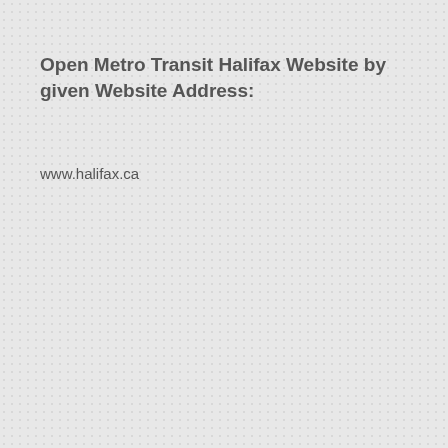Open Metro Transit Halifax Website by given Website Address:
www.halifax.ca